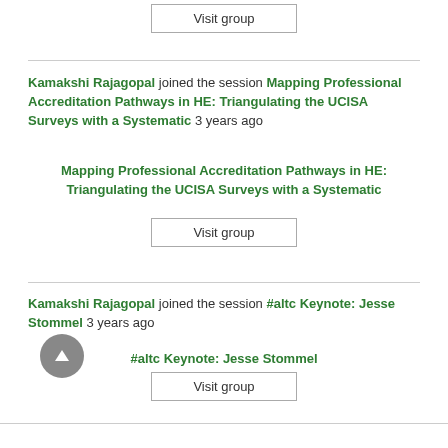Visit group
Kamakshi Rajagopal joined the session Mapping Professional Accreditation Pathways in HE: Triangulating the UCISA Surveys with a Systematic 3 years ago
Mapping Professional Accreditation Pathways in HE: Triangulating the UCISA Surveys with a Systematic
Visit group
Kamakshi Rajagopal joined the session #altc Keynote: Jesse Stommel 3 years ago
#altc Keynote: Jesse Stommel
Visit group